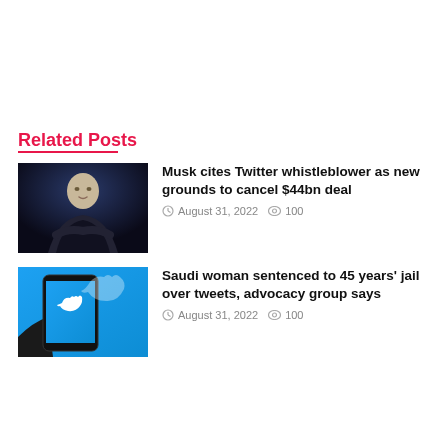Related Posts
[Figure (photo): Elon Musk in black outfit against dark background]
Musk cites Twitter whistleblower as new grounds to cancel $44bn deal
August 31, 2022  100
[Figure (photo): Hand holding smartphone showing Twitter logo on blue screen with Twitter bird logo also visible in background]
Saudi woman sentenced to 45 years' jail over tweets, advocacy group says
August 31, 2022  100